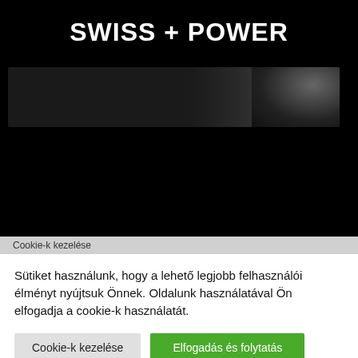SWISS + POWER
[Figure (photo): Dark banner image with shadowy figure on right side against black background]
Cookie-k kezelése
Sütiket használunk, hogy a lehető legjobb felhasználói élményt nyújtsuk Önnek. Oldalunk használatával Ön elfogadja a cookie-k használatát.
Cookie-k kezelése
Elfogadás és folytatás